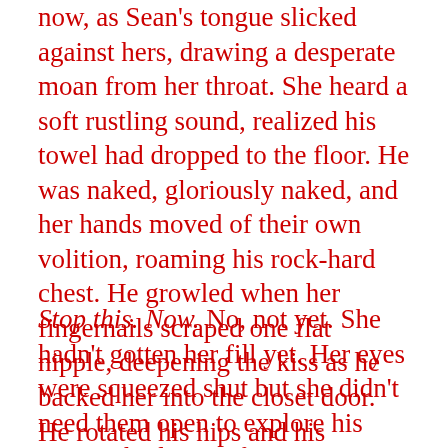now, as Sean's tongue slicked against hers, drawing a desperate moan from her throat. She heard a soft rustling sound, realized his towel had dropped to the floor. He was naked, gloriously naked, and her hands moved of their own volition, roaming his rock-hard chest. He growled when her fingernails scraped one flat nipple, deepening the kiss as he backed her into the closet door. He rotated his hips and his erection brushed her belly, teasing the top of her mound.
Stop this. Now. No, not yet. She hadn't gotten her fill yet. Her eyes were squeezed shut but she didn't need them open to explore his warrior body. Her fingers ran over his hot flesh, encountering smooth planes and roped muscles, bumpy scars that reminded her of the violent life he led. Sean's teeth sank into her bottom lip, sending a jolt of excitement between her legs. She shamelessly rubbed up against him, sliding